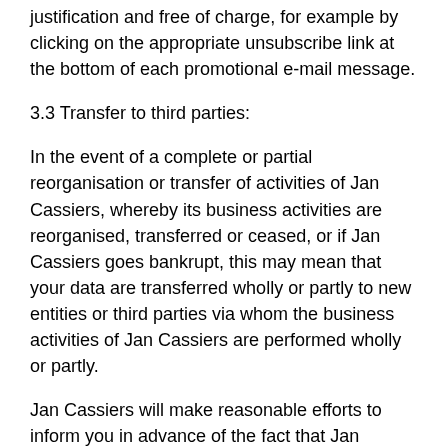justification and free of charge, for example by clicking on the appropriate unsubscribe link at the bottom of each promotional e-mail message.
3.3 Transfer to third parties:
In the event of a complete or partial reorganisation or transfer of activities of Jan Cassiers, whereby its business activities are reorganised, transferred or ceased, or if Jan Cassiers goes bankrupt, this may mean that your data are transferred wholly or partly to new entities or third parties via whom the business activities of Jan Cassiers are performed wholly or partly.
Jan Cassiers will make reasonable efforts to inform you in advance of the fact that Jan Cassiers discloses your details to said third party, but you also acknowledge that this is not technically or commercially feasible under all circumstances.
Jan Cassiers will not sell your Personal Data, nor rent,